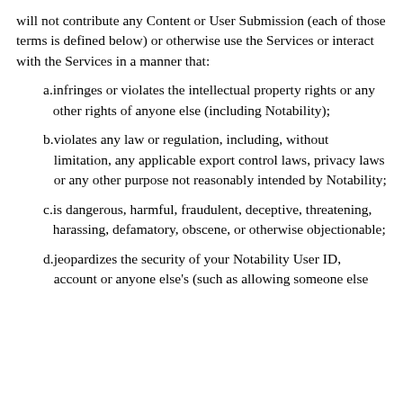will not contribute any Content or User Submission (each of those terms is defined below) or otherwise use the Services or interact with the Services in a manner that:
a. infringes or violates the intellectual property rights or any other rights of anyone else (including Notability);
b. violates any law or regulation, including, without limitation, any applicable export control laws, privacy laws or any other purpose not reasonably intended by Notability;
c. is dangerous, harmful, fraudulent, deceptive, threatening, harassing, defamatory, obscene, or otherwise objectionable;
d. jeopardizes the security of your Notability User ID, account or anyone else's (such as allowing someone else